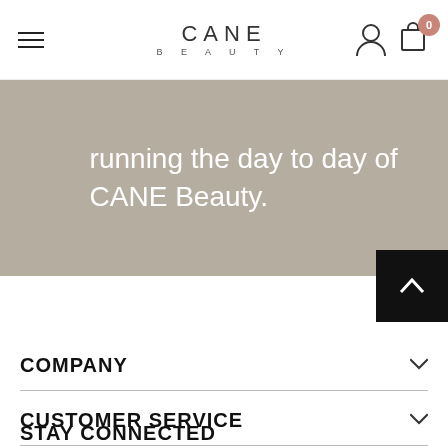CANE BEAUTY — navigation bar with hamburger menu, logo, account icon, and cart with 0 items
running the day to day of CANE Beauty.
COMPANY
CUSTOMER SERVICE
STAY CONNECTED